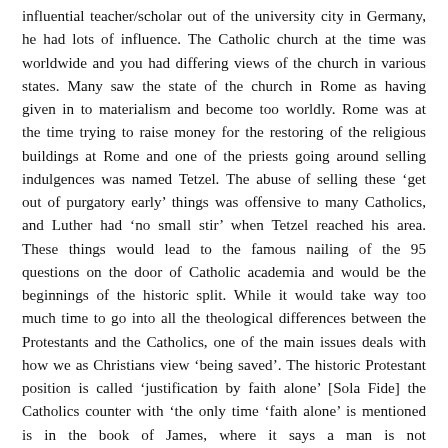influential teacher/scholar out of the university city in Germany, he had lots of influence. The Catholic church at the time was worldwide and you had differing views of the church in various states. Many saw the state of the church in Rome as having given in to materialism and become too worldly. Rome was at the time trying to raise money for the restoring of the religious buildings at Rome and one of the priests going around selling indulgences was named Tetzel. The abuse of selling these 'get out of purgatory early' things was offensive to many Catholics, and Luther had 'no small stir' when Tetzel reached his area. These things would lead to the famous nailing of the 95 questions on the door of Catholic academia and would be the beginnings of the historic split. While it would take way too much time to go into all the theological differences between the Protestants and the Catholics, one of the main issues deals with how we as Christians view 'being saved'. The historic Protestant position is called 'justification by faith alone' [Sola Fide] the Catholics counter with 'the only time 'faith alone' is mentioned is in the book of James, where it says a man is not saved/justified by 'faith alone'. Ouch! The main point I want to make is this letter deals with the early church's belief that man is accepted with God based on the sacrifice of Jesus on the Cross. Paul will challenge the 'Judaisers' [those who believed you needed to keep the law in order to be saved] and will argue that the law itself [Old Testament books] teaches that men are justified/accepted with God based